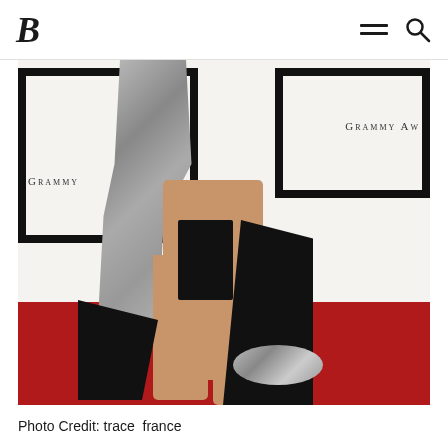B (logo) with hamburger menu and search icon
[Figure (photo): A woman on a Grammy Awards red carpet wearing a black gown with a high slit revealing her legs, silver sequined embellishments on the upper portion, and a black satin bow/sash at the waist. Grammy Awards signage visible in the background with white backdrop and red carpet.]
Photo Credit: trace  france